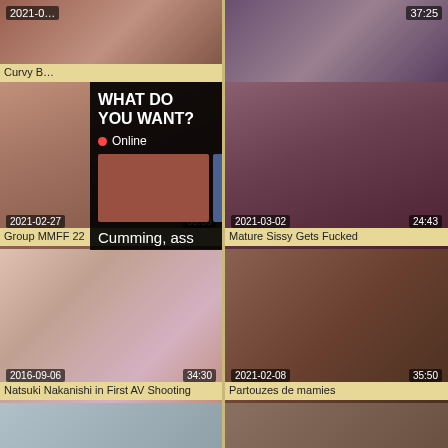[Figure (screenshot): Video thumbnail top-left partial showing woman]
2021-0…
Curvy B…
[Figure (screenshot): Video thumbnail top-right partial with timestamp 37:25]
[Figure (screenshot): Ad overlay with 'WHAT DO YOU WANT?' headline and WATCH button, online indicator, three thumbnails, text 'Cumming, ass fucking, squirt or... • ADS']
[Figure (screenshot): Video thumbnail right side partial]
2021-02-27
33:39
Group MMFF 22
2021-03-02
24:43
Mature Sissy Gets Fucked
[Figure (screenshot): Video thumbnail for Natsuki Nakanishi in First AV Shooting, 2016-09-06, 34:30]
2016-09-06
34:30
Natsuki Nakanishi in First AV Shooting
[Figure (screenshot): Video thumbnail for Partouzes de mamies, 2021-02-08, 35:50]
2021-02-08
35:50
Partouzes de mamies
[Figure (screenshot): Video thumbnail bottom-left partial]
[Figure (screenshot): Video thumbnail bottom-right partial]